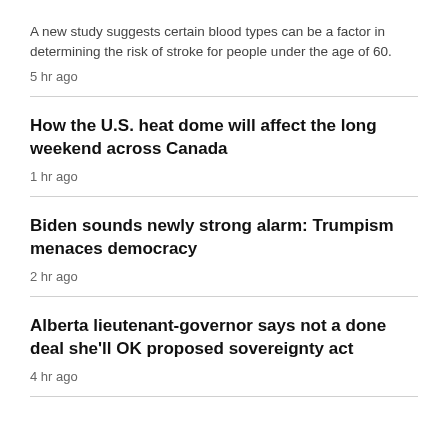A new study suggests certain blood types can be a factor in determining the risk of stroke for people under the age of 60.
5 hr ago
How the U.S. heat dome will affect the long weekend across Canada
1 hr ago
Biden sounds newly strong alarm: Trumpism menaces democracy
2 hr ago
Alberta lieutenant-governor says not a done deal she'll OK proposed sovereignty act
4 hr ago